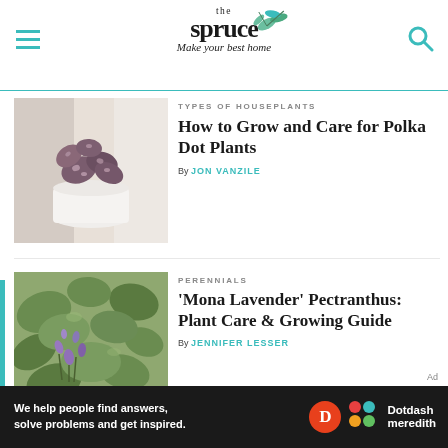the spruce — Make your best home
[Figure (photo): Polka dot plant in a white pot near a window with soft curtains in the background]
TYPES OF HOUSEPLANTS
How to Grow and Care for Polka Dot Plants
By JON VANZILE
[Figure (photo): Mona Lavender Pectranthus plant with green leaves and small purple flowers]
PERENNIALS
'Mona Lavender' Pectranthus: Plant Care & Growing Guide
By JENNIFER LESSER
[Figure (infographic): Dotdash Meredith ad banner: We help people find answers, solve problems and get inspired.]